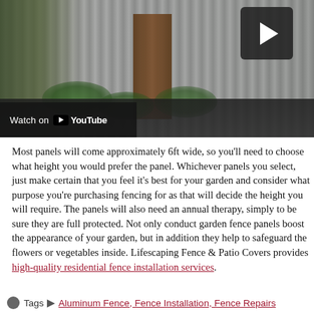[Figure (screenshot): YouTube video thumbnail showing a corrugated metal fence panel with green plants and a wooden door frame. A play button is visible in the upper right corner. A 'Watch on YouTube' overlay bar is in the lower left.]
Most panels will come approximately 6ft wide, so you'll need to choose what height you would prefer the panel. Whichever panels you select, just make certain that you feel it's best for your garden and consider what purpose you're purchasing fencing for as that will decide the height you will require. The panels will also need an annual therapy, simply to be sure they are full protected. Not only conduct garden fence panels boost the appearance of your garden, but in addition they help to safeguard the flowers or vegetables inside. Lifescaping Fence & Patio Covers provides high-quality residential fence installation services.
Tags  Aluminum Fence, Fence Installation, Fence Repairs